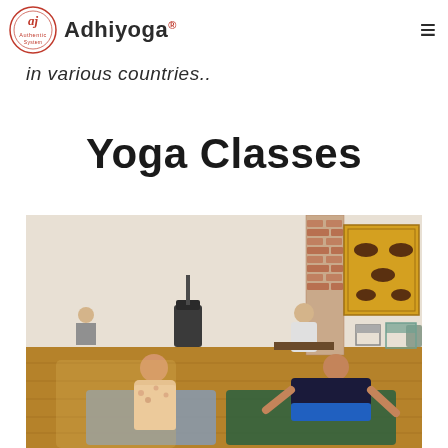Adhiyoga®
in various countries..
Yoga Classes
[Figure (photo): Indoor yoga class scene showing students practicing yoga poses on mats in a rustic studio with wooden floors, a brick pillar, and a decorative tapestry on the wall. A woman sits cross-legged on a mat in the foreground left, a man does a push-up/plank pose on the right, an instructor sits on a bench in the background, and another person is seen in the far background.]